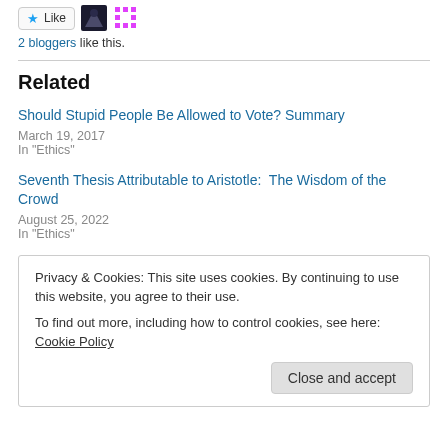[Figure (other): Like button with star icon and two blogger avatar images]
2 bloggers like this.
Related
Should Stupid People Be Allowed to Vote? Summary
March 19, 2017
In "Ethics"
Seventh Thesis Attributable to Aristotle:  The Wisdom of the Crowd
August 25, 2022
In "Ethics"
Privacy & Cookies: This site uses cookies. By continuing to use this website, you agree to their use.
To find out more, including how to control cookies, see here: Cookie Policy
Close and accept